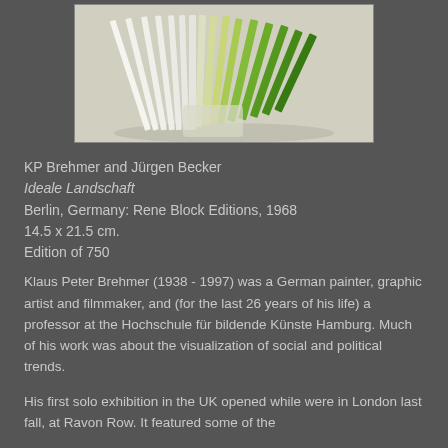[Figure (photo): A book with fanned-out pages, showing a gradient from white/cream pages on the left to green-colored pages on the right, photographed on a light background.]
KP Brehmer and Jürgen Becker
Ideale Landschaft
Berlin, Germany: Rene Block Editions, 1968
14.5 x 21.5 cm.
Edition of 750
Klaus Peter Brehmer (1938 - 1997) was a German painter, graphic artist and filmmaker, and (for the last 26 years of his life) a professor at the Hochschule für bildende Künste Hamburg. Much of his work was about the visualization of social and political trends.
His first solo exhibition in the UK opened while were in London last fall, at Ravon Row. It featured some of the